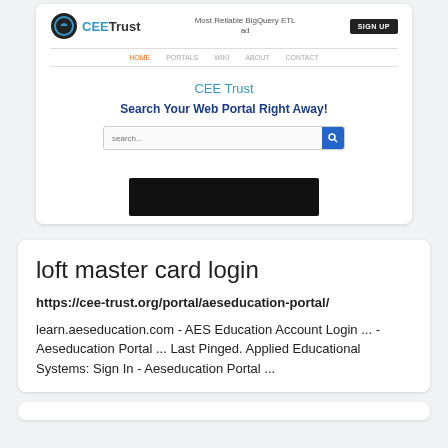[Figure (screenshot): Screenshot of CEE Trust website showing logo, navigation bar, hero section with search bar reading 'Search Your Web Portal Right Away!' and a black bar at the bottom]
loft master card login
https://cee-trust.org/portal/aeseducation-portal/
learn.aeseducation.com - AES Education Account Login ... - Aeseducation Portal ... Last Pinged. Applied Educational Systems: Sign In - Aeseducation Portal ...